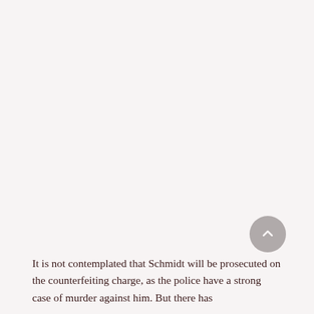It is not contemplated that Schmidt will be prosecuted on the counterfeiting charge, as the police have a strong case of murder against him. But there has